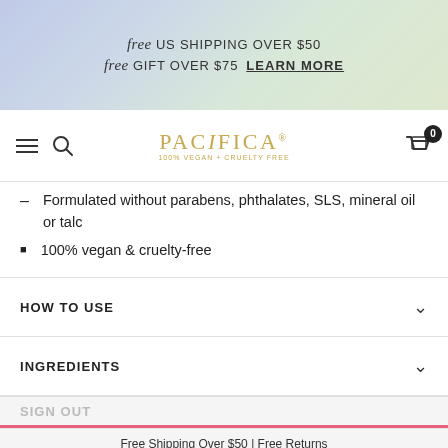free US SHIPPING OVER $50  free GIFT OVER $75  LEARN MORE
PACIFICA 100% VEGAN + CRUELTY FREE
Formulated without parabens, phthalates, SLS, mineral oil or talc
100% vegan & cruelty-free
HOW TO USE
INGREDIENTS
Free Shipping Over $50 | Free Returns
CHECKOUT